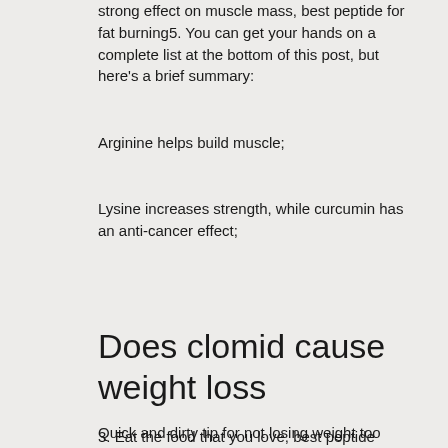strong effect on muscle mass, best peptide for fat burning5. You can get your hands on a complete list at the bottom of this post, but here's a brief summary:
Arginine helps build muscle;
Lysine increases strength, while curcumin has an anti-cancer effect;
Does clomid cause weight loss
Quick and dirty tip for not losing weight too quickly: Aim for 1-2 pounds of fat loss per week, and make sure your weight loss program includes weight lifting so that you do not lose lean musclemass.
3. Eat the food that you love, best peptide